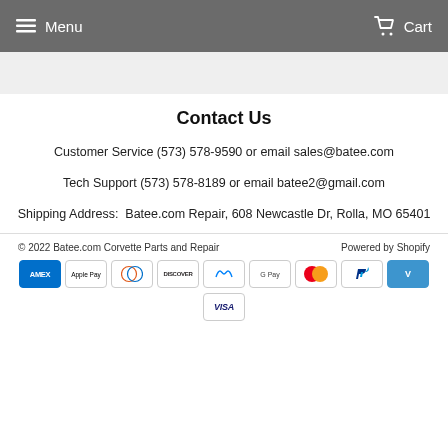Menu   Cart
Contact Us
Customer Service (573) 578-9590 or email sales@batee.com
Tech Support (573) 578-8189 or email batee2@gmail.com
Shipping Address:  Batee.com Repair, 608 Newcastle Dr, Rolla, MO 65401
© 2022 Batee.com Corvette Parts and Repair   Powered by Shopify
[Figure (other): Payment method icons: American Express, Apple Pay, Diners Club, Discover, Meta Pay, Google Pay, Mastercard, PayPal, Venmo, Visa]